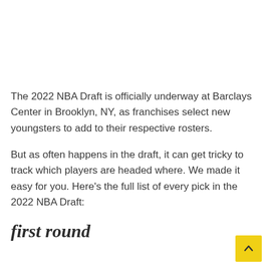The 2022 NBA Draft is officially underway at Barclays Center in Brooklyn, NY, as franchises select new youngsters to add to their respective rosters.
But as often happens in the draft, it can get tricky to track which players are headed where. We made it easy for you. Here's the full list of every pick in the 2022 NBA Draft:
first round